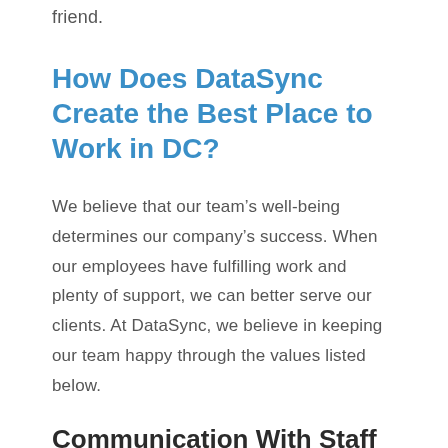friend.
How Does DataSync Create the Best Place to Work in DC?
We believe that our team’s well-being determines our company’s success. When our employees have fulfilling work and plenty of support, we can better serve our clients. At DataSync, we believe in keeping our team happy through the values listed below.
Communication With Staff
Every team member deserves to have their opinion heard regardless of seniority. We make an active effort to learn our team’s thoughts on our